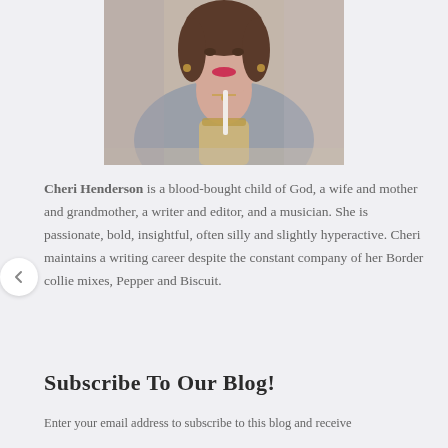[Figure (photo): Photo of Cheri Henderson, a woman in a gray cardigan holding a glass drink with a straw, cropped at the top of the page]
Cheri Henderson is a blood-bought child of God, a wife and mother and grandmother, a writer and editor, and a musician. She is passionate, bold, insightful, often silly and slightly hyperactive. Cheri maintains a writing career despite the constant company of her Border collie mixes, Pepper and Biscuit.
Subscribe To Our Blog!
Enter your email address to subscribe to this blog and receive